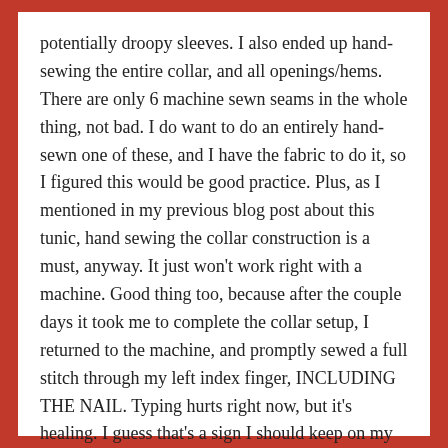potentially droopy sleeves. I also ended up hand-sewing the entire collar, and all openings/hems. There are only 6 machine sewn seams in the whole thing, not bad. I do want to do an entirely hand-sewn one of these, and I have the fabric to do it, so I figured this would be good practice. Plus, as I mentioned in my previous blog post about this tunic, hand sewing the collar construction is a must, anyway. It just won't work right with a machine. Good thing too, because after the couple days it took me to complete the collar setup, I returned to the machine, and promptly sewed a full stitch through my left index finger, INCLUDING THE NAIL. Typing hurts right now, but it's healing. I guess that's a sign I should keep on my hand work practice.